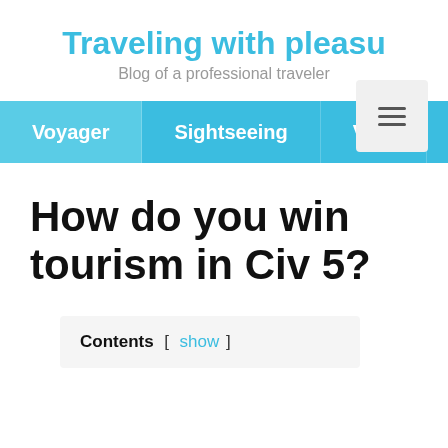Traveling with pleasure
Blog of a professional traveler
Voyager | Sightseeing | Visa
How do you win tourism in Civ 5?
Contents [ show ]